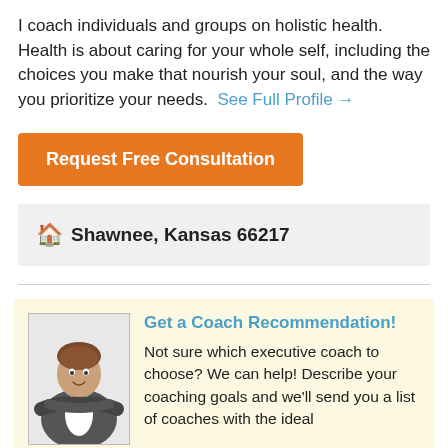I coach individuals and groups on holistic health. Health is about caring for your whole self, including the choices you make that nourish your soul, and the way you prioritize your needs. See Full Profile →
Request Free Consultation
🏠 Shawnee, Kansas 66217
[Figure (photo): Photo of a woman in business attire with arms crossed, smiling]
Get a Coach Recommendation!
Not sure which executive coach to choose? We can help! Describe your coaching goals and we'll send you a list of coaches with the ideal experience and background for your specific situation. It's free and there's no obligation.